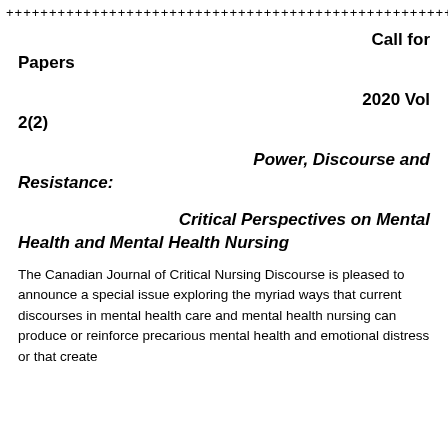+++++++++++++++++++++++++++++++++++++++++++++++++++++
Call for Papers
2020 Vol 2(2)
Power, Discourse and Resistance:
Critical Perspectives on Mental Health and Mental Health Nursing
The Canadian Journal of Critical Nursing Discourse is pleased to announce a special issue exploring the myriad ways that current discourses in mental health care and mental health nursing can produce or reinforce precarious mental health and emotional distress or that create